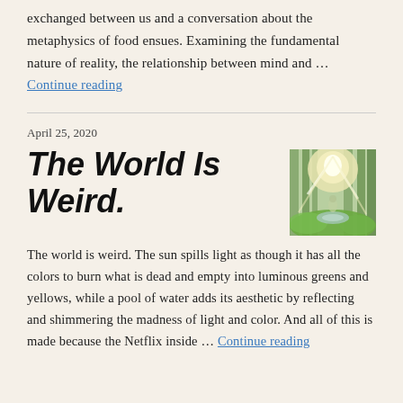exchanged between us and a conversation about the metaphysics of food ensues. Examining the fundamental nature of reality, the relationship between mind and … Continue reading
April 25, 2020
The World Is Weird.
[Figure (photo): A forest scene with sunlight beaming through trees, illuminating green grass and a pool of water below.]
The world is weird.  The sun spills light as though it has all the colors to burn what is dead and empty into luminous greens and yellows, while a pool of water adds its aesthetic by reflecting and shimmering the madness of light and color.  And all of this is made because the Netflix inside … Continue reading